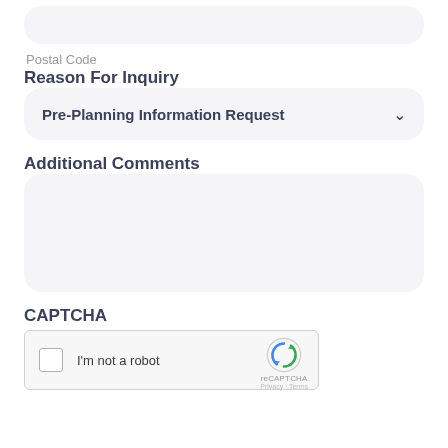Postal Code
Reason For Inquiry
Pre-Planning Information Request
Additional Comments
CAPTCHA
I'm not a robot